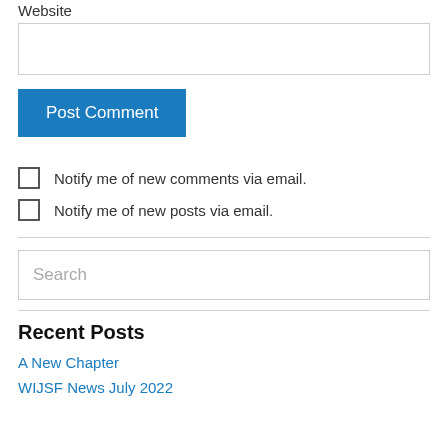Website
Post Comment
Notify me of new comments via email.
Notify me of new posts via email.
Search
Recent Posts
A New Chapter
WIJSF News July 2022